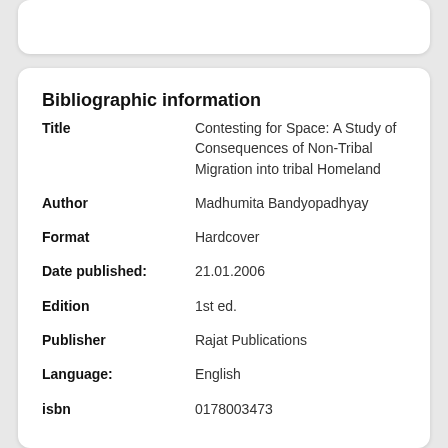Bibliographic information
| Field | Value |
| --- | --- |
| Title | Contesting for Space: A Study of Consequences of Non-Tribal Migration into tribal Homeland |
| Author | Madhumita Bandyopadhyay |
| Format | Hardcover |
| Date published: | 21.01.2006 |
| Edition | 1st ed. |
| Publisher | Rajat Publications |
| Language: | English |
| isbn | 0178003473 |